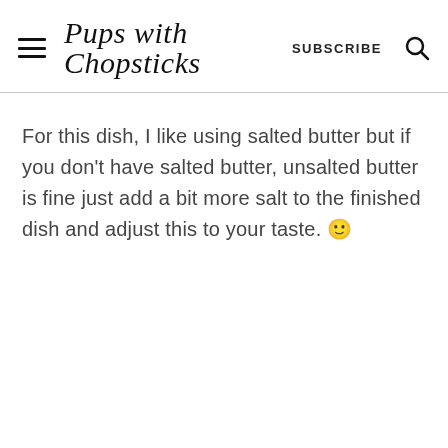Pups with Chopsticks  SUBSCRIBE
For this dish, I like using salted butter but if you don't have salted butter, unsalted butter is fine just add a bit more salt to the finished dish and adjust this to your taste. 🙂